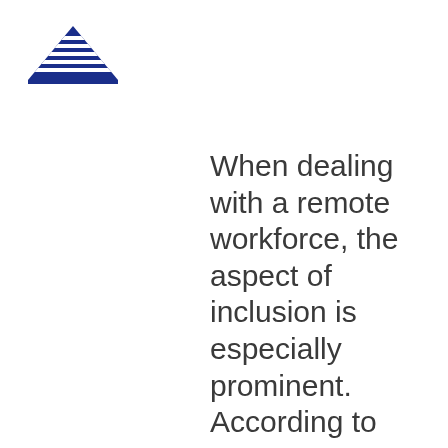[Figure (logo): Blue Signal logo: blue striped triangle/mountain shape above bold blue text reading BLUE SIGNAL]
When dealing with a remote workforce, the aspect of inclusion is especially prominent. According to